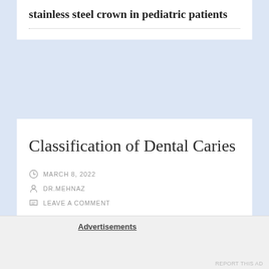stainless steel crown in pediatric patients
Classification of Dental Caries
MARCH 8, 2022
DR.MEHNAZ
LEAVE A COMMENT
Advertisements